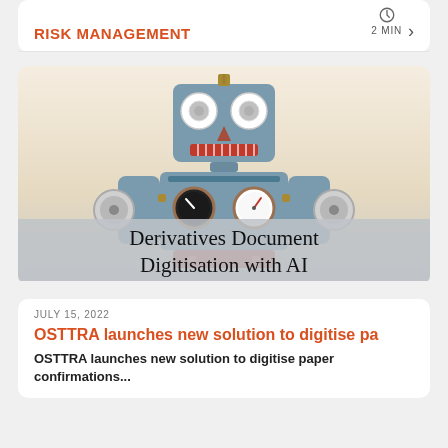2 MIN
RISK MANAGEMENT
[Figure (photo): Vintage tin toy robot with round dial gauges on its chest, standing upright. Title overlay reads 'Derivatives Document Digitisation with AI']
Derivatives Document Digitisation with AI
JULY 15, 2022
OSTTRA launches new solution to digitise pa
OSTTRA launches new solution to digitise paper confirmations...